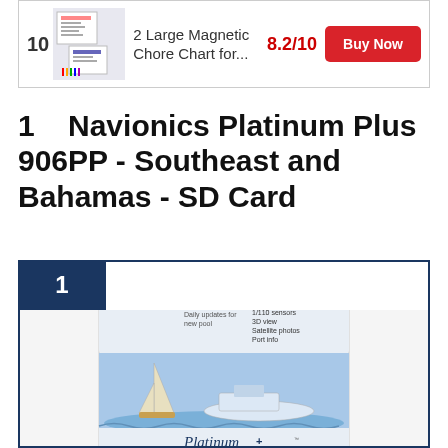[Figure (screenshot): Ad banner showing chore chart product with score 8.2/10 and Buy Now button]
1   Navionics Platinum Plus 906PP - Southeast and Bahamas - SD Card
[Figure (photo): Navionics Platinum Plus Marine Charts SD card product box showing boats on water, rank badge '1' in dark blue corner]